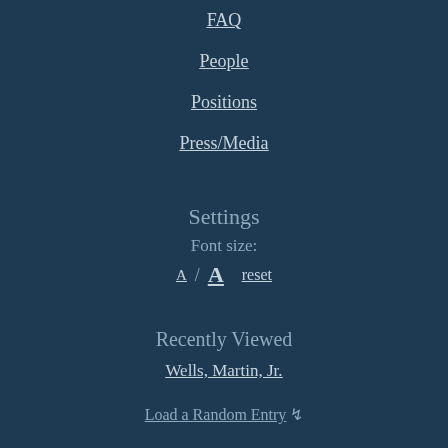FAQ
People
Positions
Press/Media
Settings
Font size:
A / A   reset
Recently Viewed
Wells, Martin, Jr.
Load a Random Entry